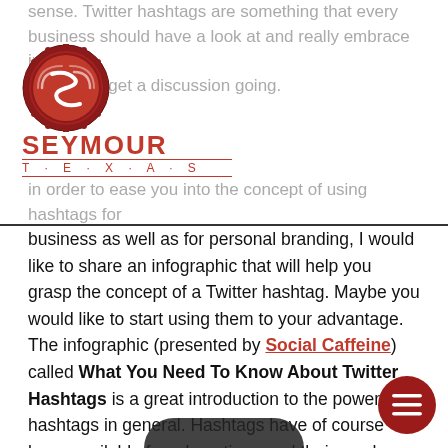sense. Twitter hashtags are something that every business should have a look at and really embrace in their attempt to get a discussion going.
[Figure (logo): Seymour Texas logo — circular red wax seal with stylized S and sound-wave graphic, with SEYMOUR in large red letters and TEXAS in smaller spaced red letters below]
in order to ease you into the concept of using hashtags for business as well as for personal branding, I would like to share an infographic that will help you grasp the concept of a Twitter hashtag. Maybe you would like to start using them to your advantage. The infographic (presented by Social Caffeine) called What You Need To Know About Twitter Hashtags is a great introduction to the power of hashtags in general. Hashtags have of course been available for a long time, and their use has been widely known. But, I think people have forgotten about the power of a good hashtag and how to really utilize it in their attempt to make people aware of what they have to say and share.